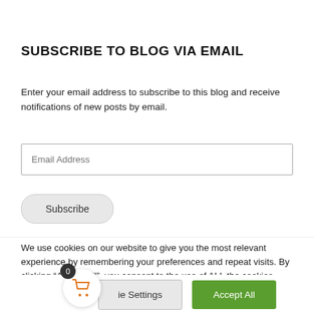SUBSCRIBE TO BLOG VIA EMAIL
Enter your email address to subscribe to this blog and receive notifications of new posts by email.
[Figure (other): Email address input field with placeholder text 'Email Address']
[Figure (other): Subscribe button, rounded gray button]
We use cookies on our website to give you the most relevant experience by remembering your preferences and repeat visits. By clicking “Accept All”, you consent to the use of ALL the cookies. However, you may visit “Cookie Settings” to provide a controlled consent.
[Figure (other): Cookie consent buttons: 'Cookie Settings' (gray) and 'Accept All' (green), plus a shopping cart icon circle with badge showing 0]